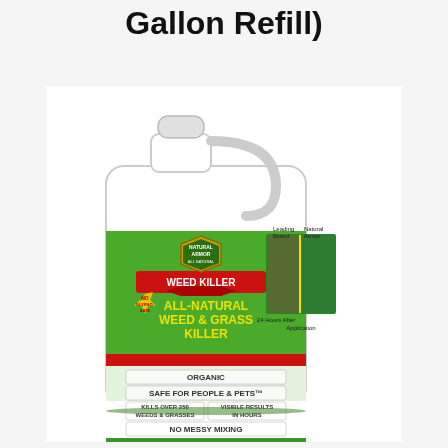Gallon Refill)
[Figure (photo): White 1-gallon jug of Natural Armor All-Natural Weed & Grass Killer with green and red label. Label features: Natural Armor shield logo, Weed Killer branding, 'All-Natural Weed & Grass Killer' text, 'No Glyphosate' starburst, claims: Organic, Safe for People & Pets, Kills Over 250 Weeds & Grasses, Visible Results In Hours, No Messy Mixing, Ready To Use - Spray & Go. Comparison photo on label shows Leading Brand vs Natural Armor 24 hours after application.]